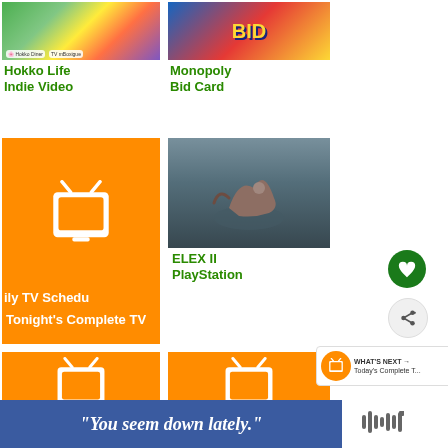[Figure (screenshot): Garden/flowers screenshot thumbnail for Hokko Life]
Hokko Life
Indie Video
[Figure (screenshot): Monopoly Bid Card game box thumbnail]
Monopoly
Bid Card
[Figure (screenshot): Orange TV schedule card with TV icon and text 'ily TV Schedu']
Tonight's Complete TV
[Figure (screenshot): ELEX II dinosaur/creature screenshot thumbnail]
ELEX II
PlayStation
[Figure (screenshot): Orange TV schedule card bottom row left]
[Figure (screenshot): Orange TV schedule card bottom row right]
[Figure (infographic): Heart/favorite button (green circle)]
[Figure (infographic): Share button (gray circle)]
[Figure (infographic): What's Next widget with orange TV icon showing 'Today's Complete T...']
“You seem down lately.”
[Figure (logo): Audio waveform icon WWW]